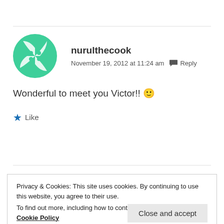nurulthecook — November 19, 2012 at 11:24 am — Reply
Wonderful to meet you Victor!! 🙂
★ Like
Privacy & Cookies: This site uses cookies. By continuing to use this website, you agree to their use. To find out more, including how to control cookies, see here: Cookie Policy
Close and accept